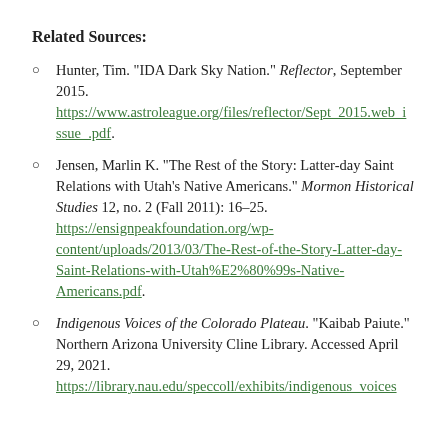Related Sources:
Hunter, Tim. "IDA Dark Sky Nation." Reflector, September 2015. https://www.astroleague.org/files/reflector/Sept_2015.web_issue_.pdf.
Jensen, Marlin K. "The Rest of the Story: Latter-day Saint Relations with Utah’s Native Americans." Mormon Historical Studies 12, no. 2 (Fall 2011): 16–25. https://ensignpeakfoundation.org/wp-content/uploads/2013/03/The-Rest-of-the-Story-Latter-day-Saint-Relations-with-Utah%E2%80%99s-Native-Americans.pdf.
Indigenous Voices of the Colorado Plateau. "Kaibab Paiute." Northern Arizona University Cline Library. Accessed April 29, 2021. https://library.nau.edu/speccoll/exhibits/indigenous_voices